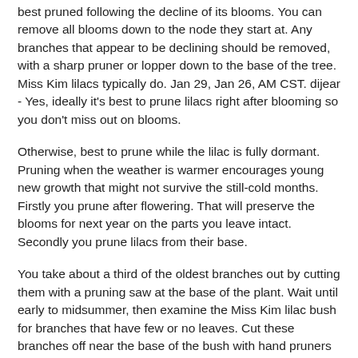best pruned following the decline of its blooms. You can remove all blooms down to the node they start at. Any branches that appear to be declining should be removed, with a sharp pruner or lopper down to the base of the tree. Miss Kim lilacs typically do. Jan 29, Jan 26, AM CST. dijear - Yes, ideally it's best to prune lilacs right after blooming so you don't miss out on blooms.
Otherwise, best to prune while the lilac is fully dormant. Pruning when the weather is warmer encourages young new growth that might not survive the still-cold months. Firstly you prune after flowering. That will preserve the blooms for next year on the parts you leave intact. Secondly you prune lilacs from their base.
You take about a third of the oldest branches out by cutting them with a pruning saw at the base of the plant. Wait until early to midsummer, then examine the Miss Kim lilac bush for branches that have few or no leaves. Cut these branches off near the base of the bush with hand pruners or loppers. Look at the bush to locate the longest, tallest branches. Remove lilac blooms from the bush when they start turning brown.